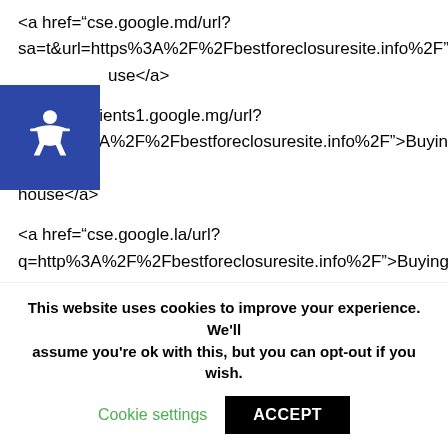<a href="cse.google.md/url? sa=t&url=https%3A%2F%2Fbestforeclosuresite.info%2F">Buying a house</a>
<a href="clients1.google.mg/url? q=https%3A%2F%2Fbestforeclosuresite.info%2F">Buying a house</a>
<a href="cse.google.la/url? q=http%3A%2F%2Fbestforeclosuresite.info%2F">Buying a house</a>
<a href="cse.google.tg/url? q=https%3A%2F%2Fbestforeclosuresite.info%2F">Buying a house</a>
This website uses cookies to improve your experience. We'll assume you're ok with this, but you can opt-out if you wish.
Cookie settings
ACCEPT